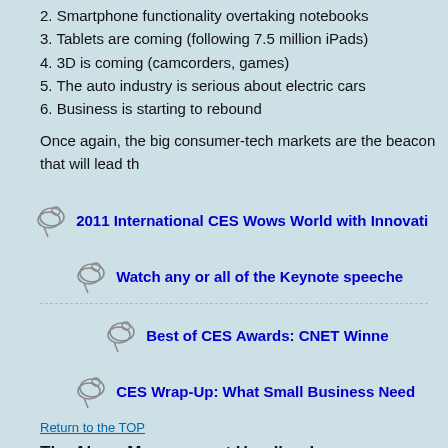2. Smartphone functionality overtaking notebooks
3. Tablets are coming (following 7.5 million iPads)
4. 3D is coming (camcorders, games)
5. The auto industry is serious about electric cars
6. Business is starting to rebound
Once again, the big consumer-tech markets are the beacon that will lead th
[Figure (illustration): Small linked image icon next to blue link text: 2011 International CES Wows World with Innovati]
[Figure (illustration): Small linked image icon next to blue link text: Watch any or all of the Keynote speeches]
[Figure (illustration): Small linked image icon next to blue link text: Best of CES Awards: CNET Winne]
[Figure (illustration): Small linked image icon next to blue link text: CES Wrap-Up: What Small Business Need]
Return to the TOP
The Alarm Management Handbook
This is the most complete best-practices book available for designing and management systems. It was published by PAS, the automation-genome c This second edition was written by Bill Hollifield, Principal Alarm Manageme PAS founder and CEO.
Abnormal situations in plants around the world kill and injure people, cause damage, costing the industry billions of dollars every year. Investigation rep